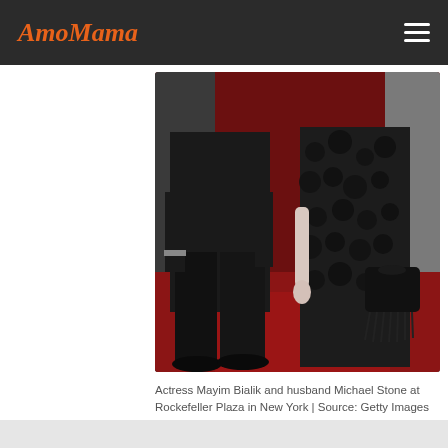AmoMama
[Figure (photo): Two people standing on a red carpet. One person in a black suit on the left, and another person in a black floral patterned gown holding a black clutch purse on the right.]
Actress Mayim Bialik and husband Michael Stone at Rockefeller Plaza in New York | Source: Getty Images